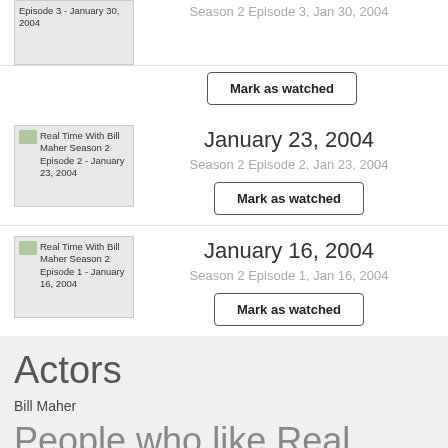[Figure (screenshot): Thumbnail for Real Time With Bill Maher Season 2 Episode 3 - January 30, 2004]
Season 2 Episode 3, Jan 30, 2004
Mark as watched
[Figure (screenshot): Thumbnail for Real Time With Bill Maher Season 2 Episode 2 - January 23, 2004]
January 23, 2004
Season 2 Episode 2, Jan 23, 2004
Mark as watched
[Figure (screenshot): Thumbnail for Real Time With Bill Maher Season 2 Episode 1 - January 16, 2004]
January 16, 2004
Season 2 Episode 1, Jan 16, 2004
Mark as watched
Actors
Bill Maher
People who like Real Time With Bill Maher also like